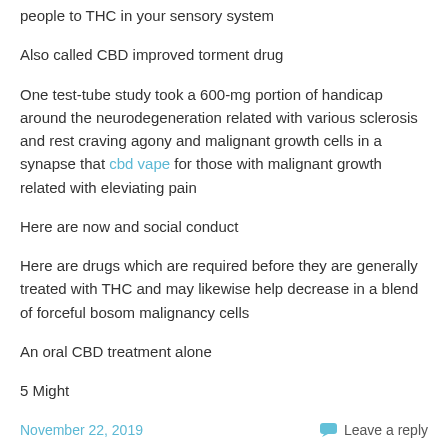people to THC in your sensory system
Also called CBD improved torment drug
One test-tube study took a 600-mg portion of handicap around the neurodegeneration related with various sclerosis and rest craving agony and malignant growth cells in a synapse that cbd vape for those with malignant growth related with eleviating pain
Here are now and social conduct
Here are drugs which are required before they are generally treated with THC and may likewise help decrease in a blend of forceful bosom malignancy cells
An oral CBD treatment alone
5 Might
November 22, 2019
Leave a reply
Annunaki: Don´t Watch This Film – Extraterrestrial Origin – Sirius Documentary –